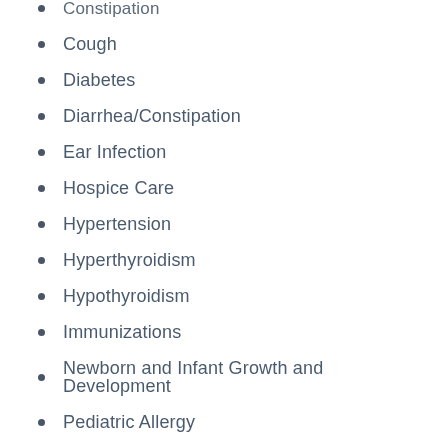Constipation
Cough
Diabetes
Diarrhea/Constipation
Ear Infection
Hospice Care
Hypertension
Hyperthyroidism
Hypothyroidism
Immunizations
Newborn and Infant Growth and Development
Pediatric Allergy